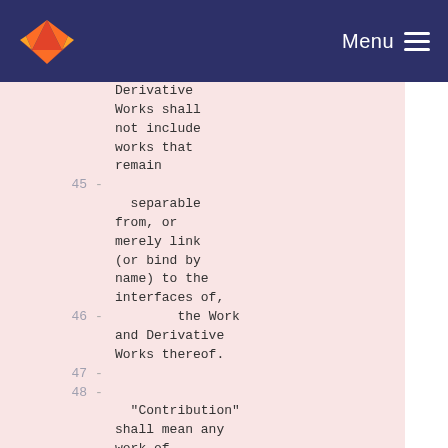Menu
Derivative Works shall not include works that remain
45 - separable from, or merely link (or bind by name) to the interfaces of,
46 - the Work and Derivative Works thereof.
47 -
48 - "Contribution" shall mean any work of